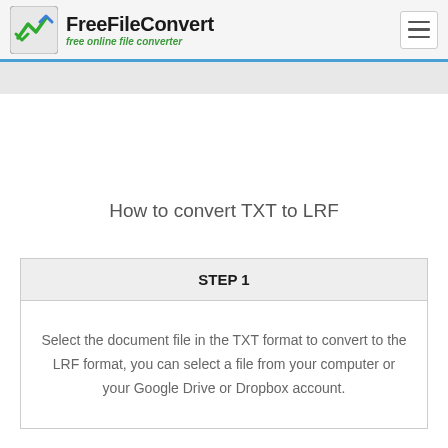FreeFileConvert - free online file converter
How to convert TXT to LRF
STEP 1
Select the document file in the TXT format to convert to the LRF format, you can select a file from your computer or your Google Drive or Dropbox account.